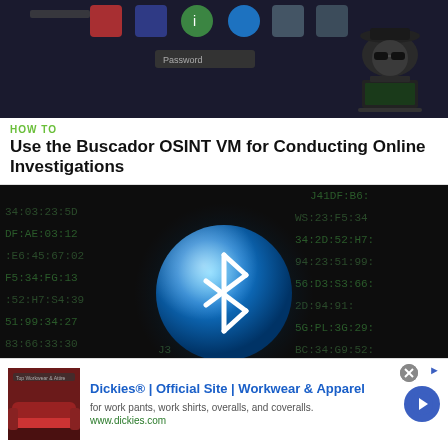[Figure (screenshot): Dark desktop screenshot showing application icons and a hacker silhouette illustration on the right side]
HOW TO
Use the Buscador OSINT VM for Conducting Online Investigations
[Figure (illustration): Dark background with hex/bluetooth MAC address codes and a glowing blue Bluetooth logo sphere in the center]
BT RECON
How to Snoop on Bluetooth Devices Using Kali Linux
[Figure (screenshot): Advertisement banner: Dickies Official Site - Workwear and Apparel, with red couch thumbnail, blue arrow button]